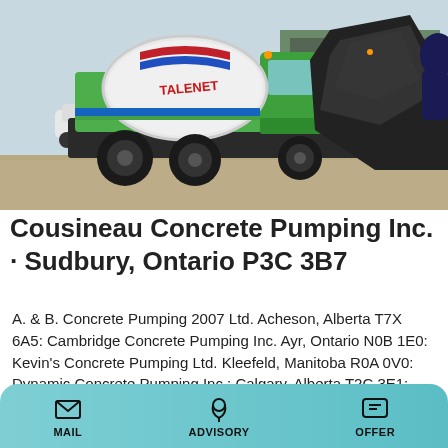[Figure (photo): A green self-loading concrete mixer truck parked on a gravel surface outdoors. The truck has a white rotating drum with TALENET branding in red/blue, and a large black loading bucket/hopper on the right side. A green industrial building is visible in the background.]
Cousineau Concrete Pumping Inc. · Sudbury, Ontario P3C 3B7
A. & B. Concrete Pumping 2007 Ltd. Acheson, Alberta T7X 6A5: Cambridge Concrete Pumping Inc. Ayr, Ontario N0B 1E0: Kevin's Concrete Pumping Ltd. Kleefeld, Manitoba R0A 0V0: Dynamic Concrete Pumping Inc : Calgary, Alberta T2C 3E1: Norcon Concrete Pumping Ltd : Coldwater, Ontario L0K 1E0: Southeast Concrete Pumping Inc. Medicine Hat, Alberta
MAIL   ADVISORY   OFFER